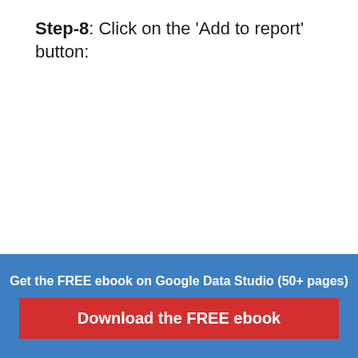Step-8: Click on the ‘Add to report’ button:
Get the FREE ebook on Google Data Studio (50+ pages)
Download the FREE ebook